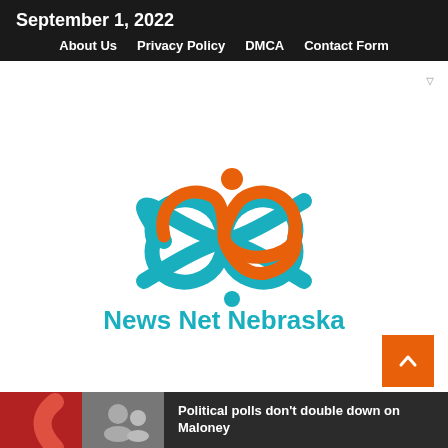September 1, 2022
About Us  Privacy Policy  DMCA  Contact Form
[Figure (logo): News Net Nebraska logo: an infinity-symbol figure made of orange and teal swooping curves with a person/dot above, and the text 'News Net Nebraska' in bold teal below.]
Political polls don't double down on Maloney